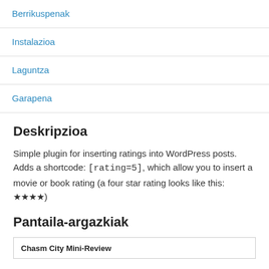Berrikuspenak
Instalazioa
Laguntza
Garapena
Deskripzioa
Simple plugin for inserting ratings into WordPress posts. Adds a shortcode: [rating=5], which allow you to insert a movie or book rating (a four star rating looks like this: ★★★★)
Pantaila-argazkiak
Chasm City Mini-Review